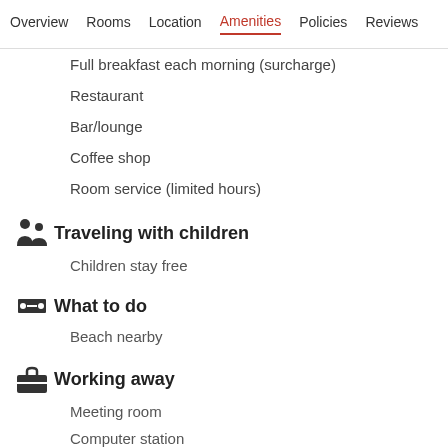Overview  Rooms  Location  Amenities  Policies  Reviews
Full breakfast each morning (surcharge)
Restaurant
Bar/lounge
Coffee shop
Room service (limited hours)
Traveling with children
Children stay free
What to do
Beach nearby
Working away
Meeting room
Computer station
Services